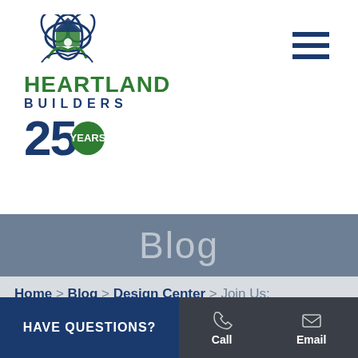[Figure (logo): Heartland Builders 25 Years logo with house icon, green HEARTLAND text, blue BUILDERS text, large blue 25 with green YEARS badge]
[Figure (other): Hamburger/menu icon — three horizontal dark blue lines]
Blog
Home > Blog > Design Center > Join Us: Design Center Open House! | Blog
HAVE QUESTIONS?
Call
Email